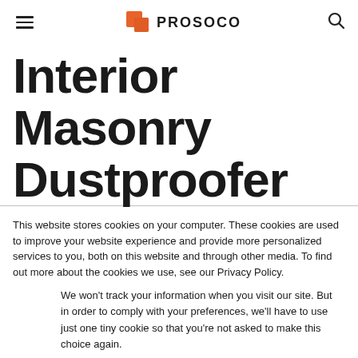PROSOCO
Interior Masonry Dustproofer
This website stores cookies on your computer. These cookies are used to improve your website experience and provide more personalized services to you, both on this website and through other media. To find out more about the cookies we use, see our Privacy Policy.
We won't track your information when you visit our site. But in order to comply with your preferences, we'll have to use just one tiny cookie so that you're not asked to make this choice again.
Accept  Decline